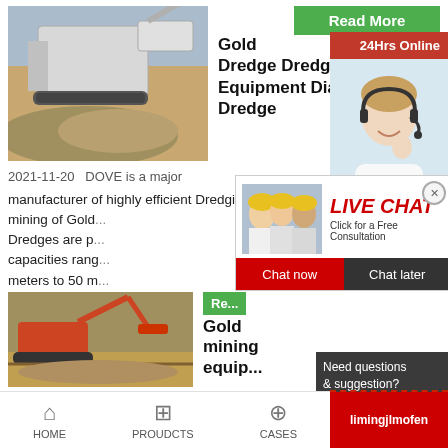[Figure (screenshot): Mining/dredging equipment photo - crusher or screening machine with rock/sand pile]
[Figure (screenshot): Green Read More button top right]
Gold Dredge Dredging Equipment Diamond Dredge
2021-11-20   DOVE is a major manufacturer of highly efficient Dredging equipment for mining of Gold... Dredges are p... capacities rang... meters to 50 m...
[Figure (screenshot): Live Chat popup overlay with workers photo, LIVE CHAT title, Click for a Free Consultation, Chat now and Chat later buttons]
[Figure (screenshot): 24Hrs Online red banner and customer service representative photo with headset on right side panel]
Need questions & suggestion?
Chat Now
Enquiry
limingjlmofen
[Figure (photo): Gold mining equipment - excavator or mining machinery in field]
[Figure (screenshot): Green Re... button partially visible]
Gold mining equip...
HOME   PROUDCTS   CASES